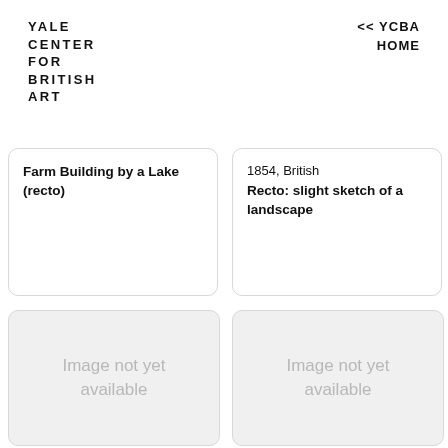YALE CENTER FOR BRITISH ART
<< YCBA HOME
Farm Building by a Lake (recto)
1854, British
Recto: slight sketch of a landscape
[Figure (other): Image not yet available placeholder box]
[Figure (other): Image not yet available placeholder box]